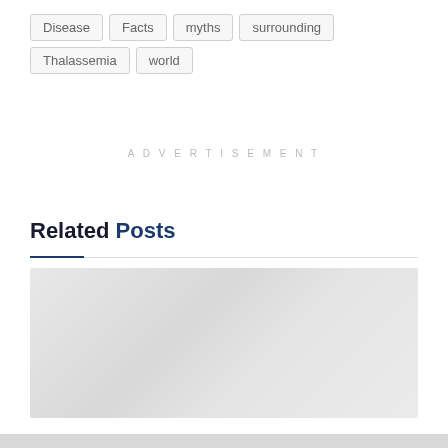Disease
Facts
myths
surrounding
Thalassemia
world
ADVERTISEMENT
Related Posts
[Figure (photo): Placeholder image area for related post thumbnail, light gray gradient background]